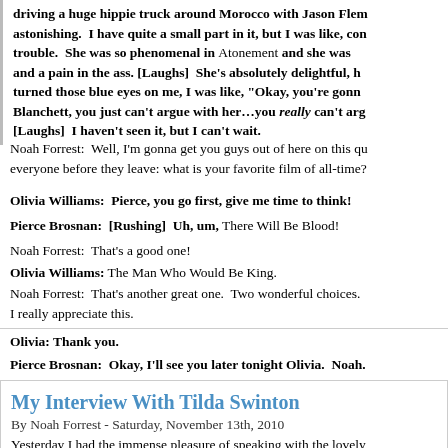driving a huge hippie truck around Morocco with Jason Flem astonishing. I have quite a small part in it, but I was like, con trouble. She was so phenomenal in Atonement and she was and a pain in the ass. [Laughs] She's absolutely delightful, h turned those blue eyes on me, I was like, "Okay, you're gonn Blanchett, you just can't argue with her...you really can't arg [Laughs] I haven't seen it, but I can't wait.
Noah Forrest: Well, I'm gonna get you guys out of here on this qu everyone before they leave: what is your favorite film of all-time?
Olivia Williams: Pierce, you go first, give me time to think!
Pierce Brosnan: [Rushing] Uh, um, There Will Be Blood!
Noah Forrest: That's a good one!
Olivia Williams: The Man Who Would Be King.
Noah Forrest: That's another great one. Two wonderful choices. I really appreciate this.
Olivia: Thank you.
Pierce Brosnan: Okay, I'll see you later tonight Olivia. Noah.
My Interview With Tilda Swinton
By Noah Forrest - Saturday, November 13th, 2010
Yesterday I had the immense pleasure of speaking with the lovely recently caught up with her performance in Luca Guadagnino's I